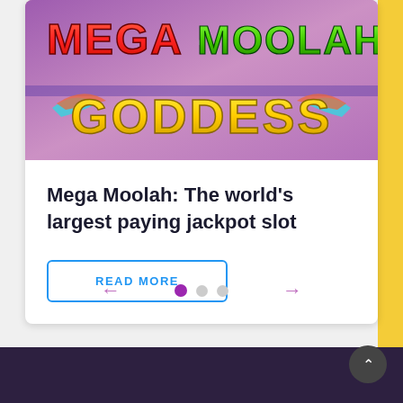[Figure (screenshot): Mega Moolah Goddess slot game logo/banner with colorful text on purple background showing 'MEGA MOOLAH GODDESS' with decorative wings]
Mega Moolah: The world's largest paying jackpot slot
READ MORE
[Figure (infographic): Carousel navigation with left arrow, three pagination dots (first dot active/purple, second and third inactive/gray), and right arrow]